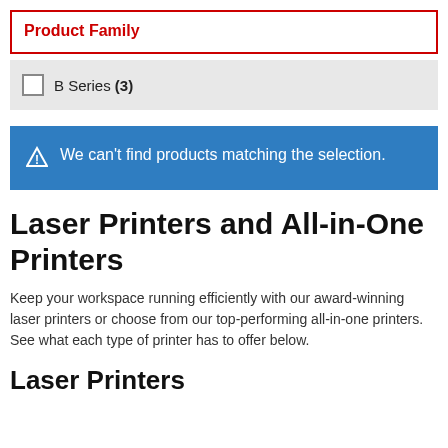Product Family
B Series (3)
We can't find products matching the selection.
Laser Printers and All-in-One Printers
Keep your workspace running efficiently with our award-winning laser printers or choose from our top-performing all-in-one printers. See what each type of printer has to offer below.
Laser Printers